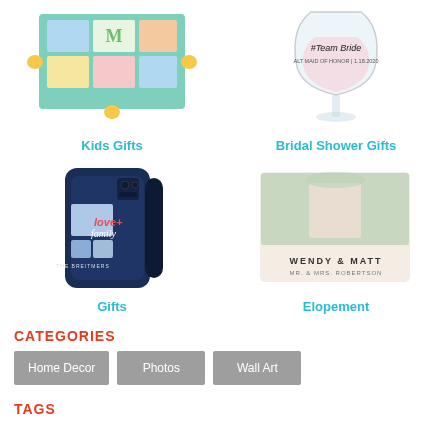[Figure (photo): Kids photo puzzle gift product image]
Kids Gifts
[Figure (photo): Team Bride wine glass bridal shower gift product image]
Bridal Shower Gifts
[Figure (photo): Love + Family phone case gift product image]
Gifts
[Figure (photo): Wendy & Matt elopement wedding photo book product image]
Elopement
CATEGORIES
Home Decor
Photos
Wall Art
TAGS